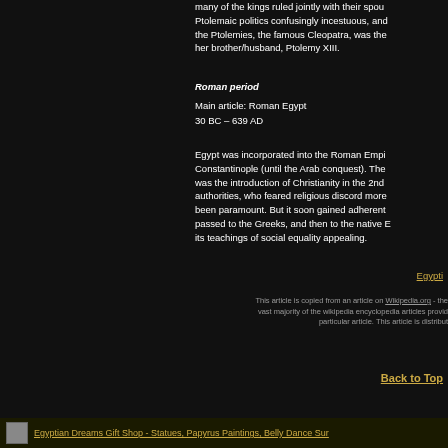many of the kings ruled jointly with their spouses, making Ptolemaic politics confusingly incestuous, and the last of the Ptolemies, the famous Cleopatra, was the co-ruler with her brother/husband, Ptolemy XIII.
Roman period
Main article: Roman Egypt
30 BC – 639 AD
Egypt was incorporated into the Roman Empire... Constantinople (until the Arab conquest). The was the introduction of Christianity in the 2nd... authorities, who feared religious discord more... been paramount. But it soon gained adherents... passed to the Greeks, and then to the native E... its teachings of social equality appealing.
Egypti
This article is copied from an article on Wikipedia.org - the vast majority of the wikipedia encyclopedia articles provid... particular article. This article is distribut...
Back to Top
Egyptian Dreams Gift Shop - Statues, Papyrus Paintings, Belly Dance Sur